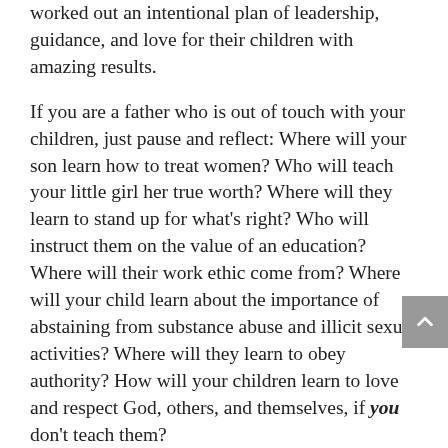worked out an intentional plan of leadership, guidance, and love for their children with amazing results.
If you are a father who is out of touch with your children, just pause and reflect: Where will your son learn how to treat women? Who will teach your little girl her true worth? Where will they learn to stand up for what's right? Who will instruct them on the value of an education? Where will their work ethic come from? Where will your child learn about the importance of abstaining from substance abuse and illicit sexual activities? Where will they learn to obey authority? How will your children learn to love and respect God, others, and themselves, if you don't teach them?
Dads — please don't turn away. The bravest thing you could ever do as a man is to be present. Your